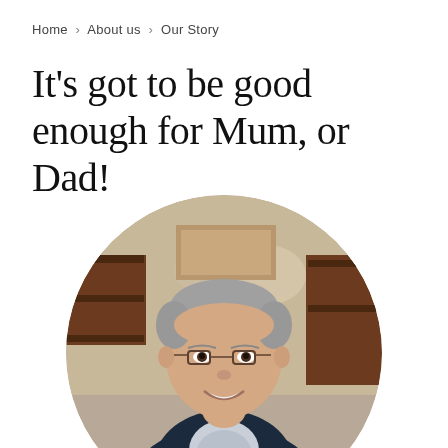Home › About us › Our Story
It's got to be good enough for Mum, or Dad!
[Figure (photo): Circular portrait photo of a smiling middle-aged man with grey hair and glasses, wearing a navy blazer over a patterned shirt, seated in what appears to be an indoor setting with wooden shelving in the background.]